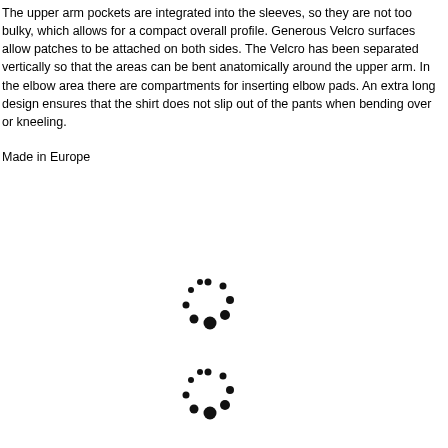The upper arm pockets are integrated into the sleeves, so they are not too bulky, which allows for a compact overall profile. Generous Velcro surfaces allow patches to be attached on both sides. The Velcro has been separated vertically so that the areas can be bent anatomically around the upper arm. In the elbow area there are compartments for inserting elbow pads. An extra long design ensures that the shirt does not slip out of the pants when bending over or kneeling.
Made in Europe
[Figure (other): Loading spinner icon (circle of dots)]
[Figure (other): Loading spinner icon (circle of dots)]